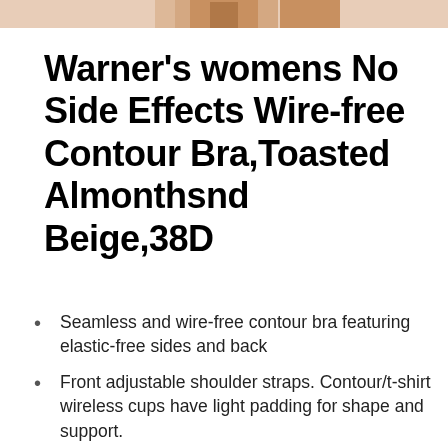[Figure (photo): Cropped photo of a person wearing a bra, showing the torso area at the top of the page.]
Warner’s womens No Side Effects Wire-free Contour Bra,Toasted Almonthsnd Beige,38D
Seamless and wire-free contour bra featuring elastic-free sides and back
Front adjustable shoulder straps. Contour/t-shirt wireless cups have light padding for shape and support.
Hook-and-eye closure